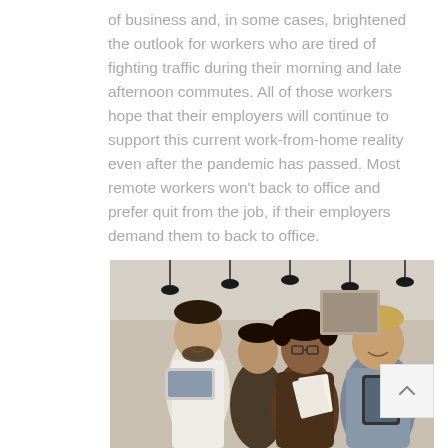of business and, in some cases, brightened the outlook for workers who are tired of fighting traffic during their morning and late afternoon commutes. All of those workers hope that their employers will continue to support this current work-from-home reality even after the pandemic has passed. Most remote workers won't back to office and prefer quit from the job, if their employers demand them to back to office.
[Figure (photo): Four office workers gathered together in a modern workspace, smiling and looking at documents. Three men and one woman with glasses and dark curly hair, in a bright office with pendant lights.]